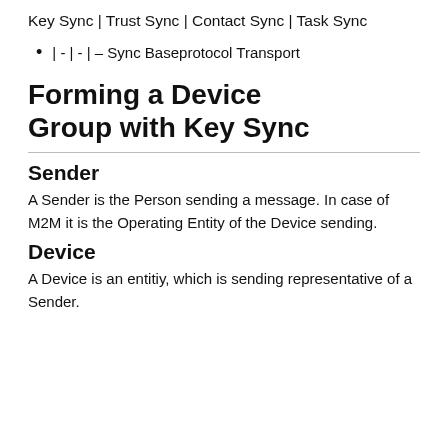Key Sync | Trust Sync | Contact Sync | Task Sync
| - | - | – Sync Baseprotocol Transport
Forming a Device Group with Key Sync
Sender
A Sender is the Person sending a message. In case of M2M it is the Operating Entity of the Device sending.
Device
A Device is an entitiy, which is sending representative of a Sender.